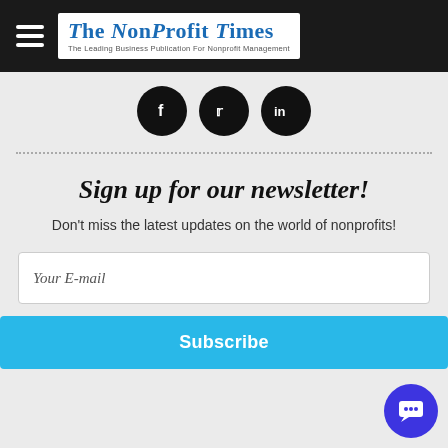The NonProfit Times — The Leading Business Publication For Nonprofit Management
[Figure (logo): Social media icons: Facebook, Twitter, LinkedIn — black circles with white icons]
Sign up for our newsletter!
Don't miss the latest updates on the world of nonprofits!
Your E-mail
Subscribe